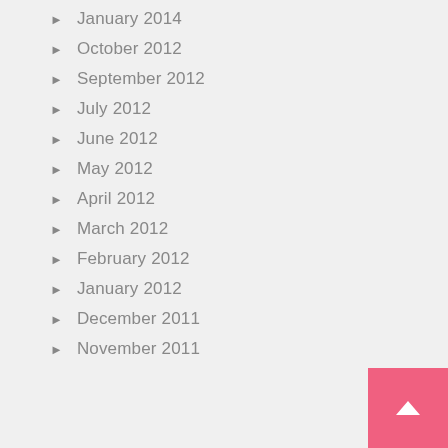January 2014
October 2012
September 2012
July 2012
June 2012
May 2012
April 2012
March 2012
February 2012
January 2012
December 2011
November 2011